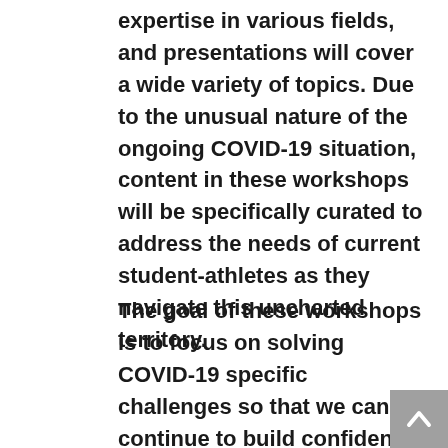expertise in various fields, and presentations will cover a wide variety of topics. Due to the unusual nature of the ongoing COVID-19 situation, content in these workshops will be specifically curated to address the needs of current student-athletes as they navigate this uncharted territory.
The goal of these workshops is to focus on solving COVID-19 specific challenges so that we can continue to build confident and employable student-athletes by delivering actionable strategies within topics such as:
Navigating...